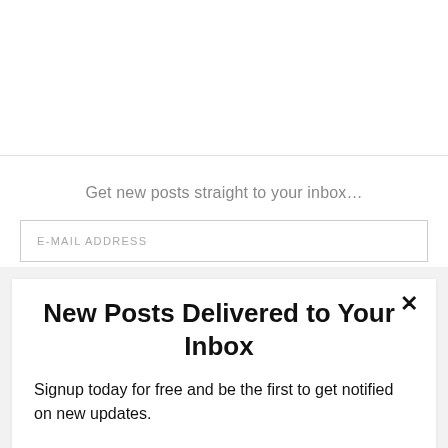Get new posts straight to your inbox…
E-MAIL ADDRESS
New Posts Delivered to Your Inbox
Signup today for free and be the first to get notified on new updates.